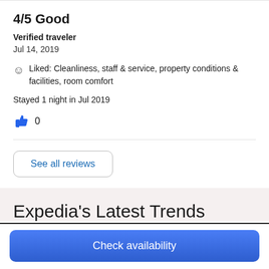4/5 Good
Verified traveler
Jul 14, 2019
Liked: Cleanliness, staff & service, property conditions & facilities, room comfort
Stayed 1 night in Jul 2019
👍 0
See all reviews
Expedia's Latest Trends
Check availability